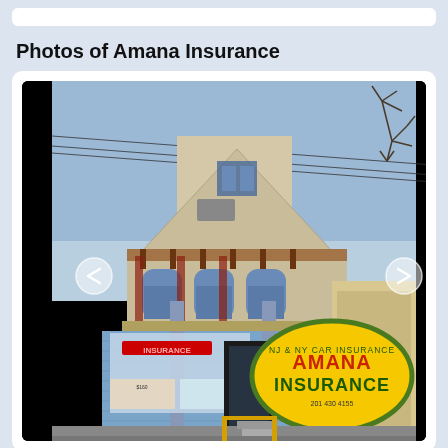Photos of Amana Insurance
[Figure (photo): Exterior photo of Amana Insurance building — a two-story Victorian-style structure with blue painted brick facade, arched windows, a front porch, and a large yellow oval sign reading 'AMANA INSURANCE' with phone number 201 430 4155. Navigation arrows visible on left and right sides of the photo.]